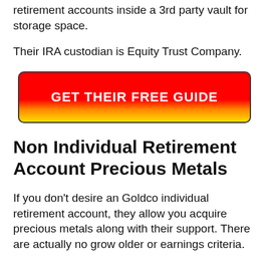retirement accounts inside a 3rd party vault for storage space.
Their IRA custodian is Equity Trust Company.
[Figure (other): Red to yellow gradient button with bold white text reading GET THEIR FREE GUIDE]
Non Individual Retirement Account Precious Metals
If you don’t desire an Goldco individual retirement account, they allow you acquire precious metals along with their support. There are actually no grow older or earnings criteria.